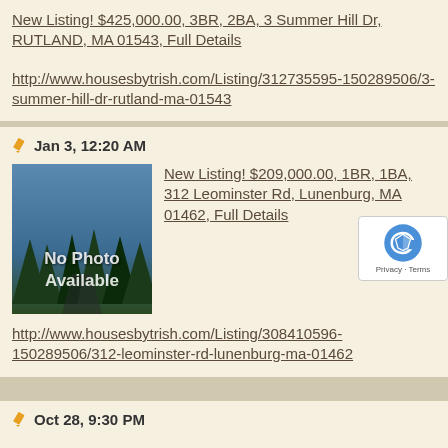New Listing! $425,000.00, 3BR, 2BA, 3 Summer Hill Dr, RUTLAND, MA 01543, Full Details
http://www.housesbytrish.com/Listing/312735595-150289506/3-summer-hill-dr-rutland-ma-01543
Jan 3, 12:20 AM
[Figure (photo): No Photo Available placeholder image with dark forest/trees background]
New Listing! $209,000.00, 1BR, 1BA, 312 Leominster Rd, Lunenburg, MA 01462, Full Details
http://www.housesbytrish.com/Listing/308410596-150289506/312-leominster-rd-lunenburg-ma-01462
Oct 28, 9:30 PM